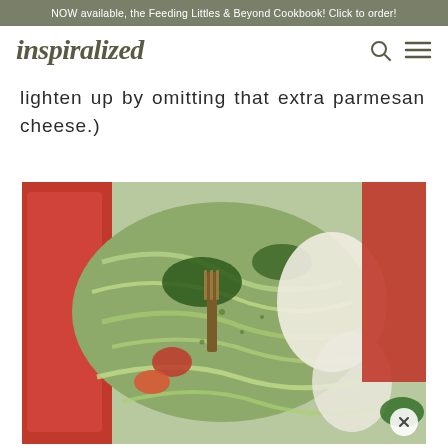NOW available, the Feeding Littles & Beyond Cookbook! Click to order!
inspiralized
lighten up by omitting that extra parmesan cheese.)
[Figure (photo): Close-up photo of zucchini noodles (zoodles) with pesto sauce, red bell pepper slices, tomatoes, mozzarella cheese, and a fork, on a plate]